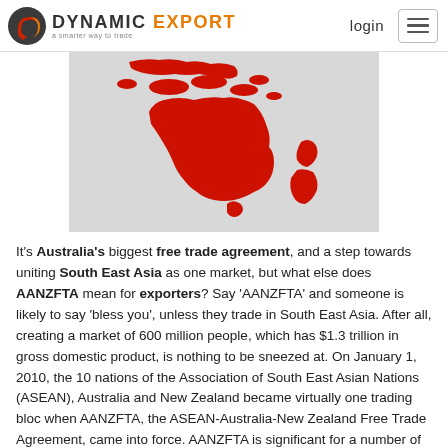DYNAMIC EXPORT — a smarter way to trade | login
[Figure (map): Map showing Australia, New Zealand and South East Asia highlighted in red on a grey background]
It's Australia's biggest free trade agreement, and a step towards uniting South East Asia as one market, but what else does AANZFTA mean for exporters? Say 'AANZFTA' and someone is likely to say 'bless you', unless they trade in South East Asia. After all, creating a market of 600 million people, which has $1.3 trillion in gross domestic product, is nothing to be sneezed at. On January 1, 2010, the 10 nations of the Association of South East Asian Nations (ASEAN), Australia and New Zealand became virtually one trading bloc when AANZFTA, the ASEAN-Australia-New Zealand Free Trade Agreement, came into force. AANZFTA is significant for a number of reasons. Firstly, it represents the biggest free trade agreement Australia has signed with any entity. On top of that, it was finalised at a time when the global economic downturn